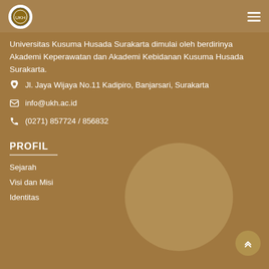Universitas Kusuma Husada Surakarta logo and navigation menu
Universitas Kusuma Husada Surakarta dimulai oleh berdirinya Akademi Keperawatan dan Akademi Kebidanan Kusuma Husada Surakarta.
Jl. Jaya Wijaya No.11 Kadipiro, Banjarsari, Surakarta
info@ukh.ac.id
(0271) 857724 / 856832
PROFIL
Sejarah
Visi dan Misi
Identitas